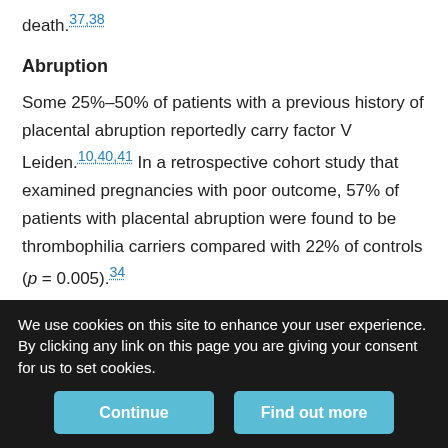death.37,38
Abruption
Some 25%–50% of patients with a previous history of placental abruption reportedly carry factor V Leiden.10,40,41 In a retrospective cohort study that examined pregnancies with poor outcome, 57% of patients with placental abruption were found to be thrombophilia carriers compared with 22% of controls (p = 0.005).34
Intrauterine growth restriction
The association between factor V Leiden and intrauterine growth restriction was first reported in a case series describing 5 of 7 patients with severe and recurrent intrauterine growth restriction who
We use cookies on this site to enhance your user experience. By clicking any link on this page you are giving your consent for us to set cookies.